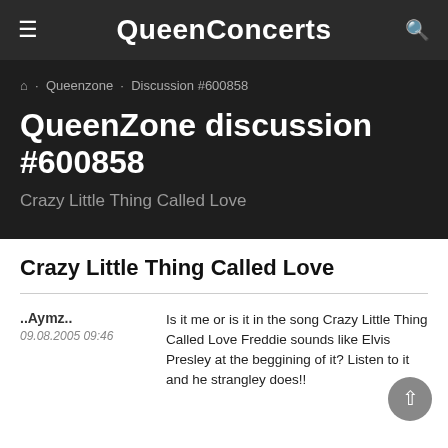QueenConcerts
🏠 · Queenzone · Discussion #600858
QueenZone discussion #600858
Crazy Little Thing Called Love
Crazy Little Thing Called Love
..Aymz.. 09.08.2005 09:46
Is it me or is it in the song Crazy Little Thing Called Love Freddie sounds like Elvis Presley at the beggining of it? Listen to it and he strangley does!!